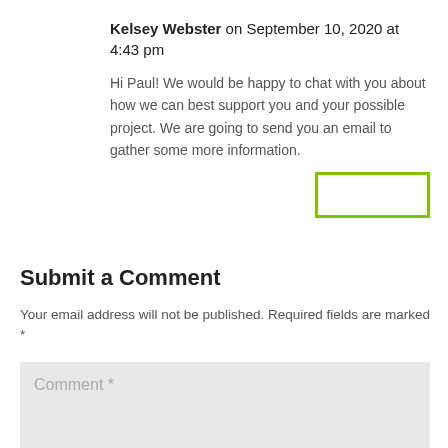Kelsey Webster on September 10, 2020 at 4:43 pm
Hi Paul! We would be happy to chat with you about how we can best support you and your possible project. We are going to send you an email to gather some more information.
[Figure (other): A green-outlined reply button (empty rectangle with green border)]
Submit a Comment
Your email address will not be published. Required fields are marked *
Comment *